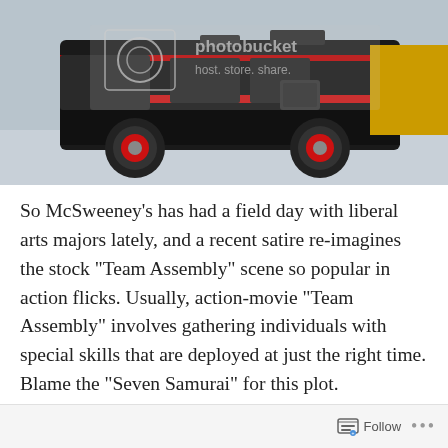[Figure (photo): A photo of a black and red custom vehicle/van, partially shown, with a Photobucket watermark overlay reading 'host. store. share.']
So McSweeney’s has had a field day with liberal arts majors lately, and a recent satire re-imagines the stock “Team Assembly” scene so popular in action flicks. Usually, action-movie “Team Assembly” involves gathering individuals with special skills that are deployed at just the right time. Blame the “Seven Samurai” for this plot.

Every action-movie team has the brains, the muscle, the sex magnet, the leader … and of course the Batsh*t
Follow •••